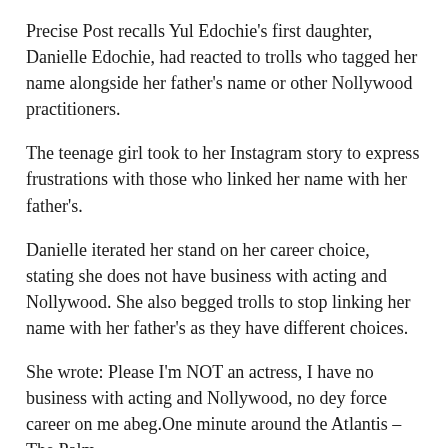Precise Post recalls Yul Edochie's first daughter, Danielle Edochie, had reacted to trolls who tagged her name alongside her father's name or other Nollywood practitioners.
The teenage girl took to her Instagram story to express frustrations with those who linked her name with her father's.
Danielle iterated her stand on her career choice, stating she does not have business with acting and Nollywood. She also begged trolls to stop linking her name with her father's as they have different choices.
She wrote: Please I'm NOT an actress, I have no business with acting and Nollywood, no dey force career on me abeg.One minute around the Atlantis – The Palm
I don't act and I'm not intrested in acting.